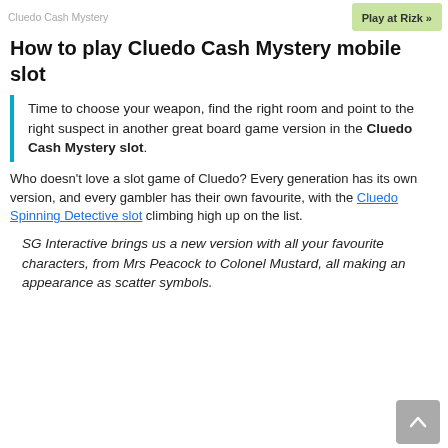Cluedo Cash Mystery | T&Cs Apply | T&Cs Apply | Play at Rizk »
How to play Cluedo Cash Mystery mobile slot
Time to choose your weapon, find the right room and point to the right suspect in another great board game version in the Cluedo Cash Mystery slot.
Who doesn't love a slot game of Cluedo? Every generation has its own version, and every gambler has their own favourite, with the Cluedo Spinning Detective slot climbing high up on the list.
SG Interactive brings us a new version with all your favourite characters, from Mrs Peacock to Colonel Mustard, all making an appearance as scatter symbols.